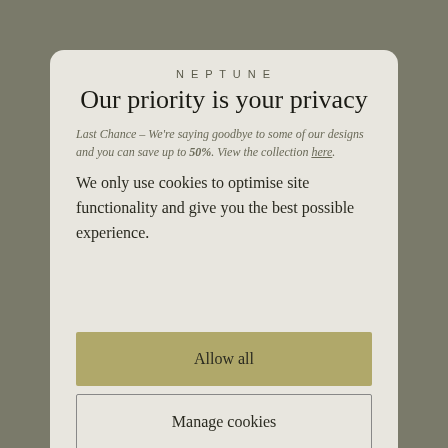NEPTUNE
Our priority is your privacy
Last Chance – We're saying goodbye to some of our designs and you can save up to 50%. View the collection here.
We only use cookies to optimise site functionality and give you the best possible experience.
Allow all
Manage cookies